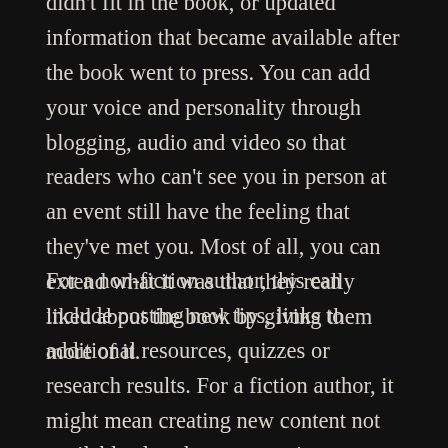didn't fit in the book, or updated information that became available after the book went to press. You can add your voice and personality through blogging, audio and video so that readers who can't see you in person at an event still have the feeling that they've met you. Most of all, you can extend what it was that they really liked about the book by giving them more of it.
For a non-fiction author, this can include posting new tips, links to additional resources, quizzes or research results. For a fiction author, it might mean creating new content not available elsewhere, or posting content first on your own site to